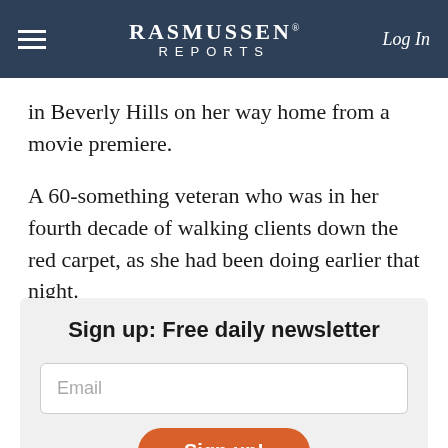RASMUSSEN REPORTS | Log In
in Beverly Hills on her way home from a movie premiere.
A 60-something veteran who was in her fourth decade of walking clients down the red carpet, as she had been doing earlier that night.
Sign up: Free daily newsletter
Email
Sign up!